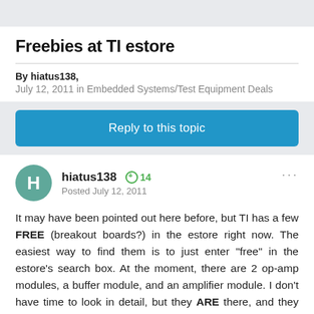Freebies at TI estore
By hiatus138,
July 12, 2011 in Embedded Systems/Test Equipment Deals
Reply to this topic
hiatus138  +14
Posted July 12, 2011
It may have been pointed out here before, but TI has a few FREE (breakout boards?) in the estore right now. The easiest way to find them is to just enter "free" in the estore's search box. At the moment, there are 2 op-amp modules, a buffer module, and an amplifier module. I don't have time to look in detail, but they ARE there, and they ARE free. Incl. shipping.